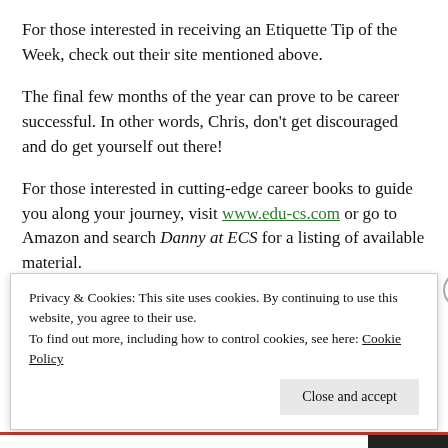For those interested in receiving an Etiquette Tip of the Week, check out their site mentioned above.
The final few months of the year can prove to be career successful. In other words, Chris, don't get discouraged and do get yourself out there!
For those interested in cutting-edge career books to guide you along your journey, visit www.edu-cs.com or go to Amazon and search Danny at ECS for a listing of available material.
Danny Hufman, MA, CEIP, CPRW, CPCC
Privacy & Cookies: This site uses cookies. By continuing to use this website, you agree to their use.
To find out more, including how to control cookies, see here: Cookie Policy